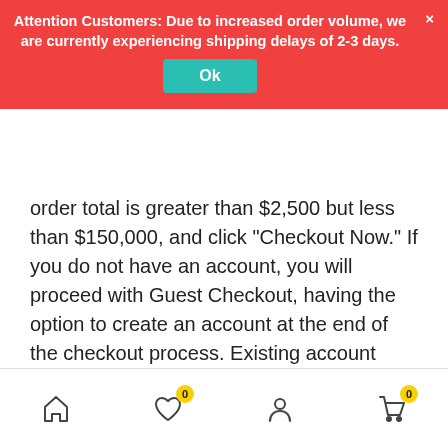Attention Customers: Due to increased order volume, we are currently experiencing shipping delays of 2-3 days.
order total is greater than $2,500 but less than $150,000, and click “Checkout Now.” If you do not have an account, you will proceed with Guest Checkout, having the option to create an account at the end of the checkout process. Existing account holders will be prompted to log in to proceed to checkout.
During checkout, you will have to enter standard information including your name, phone number, email, shipping and billing addresses, as well as a credit/debit card. We take your credit/debit card details to verify your identity, as well as enforce our Market Loss Policy, should you choose to cancel your order or fail to wire your payment within our allotted time frame.
[Figure (screenshot): Bottom navigation bar with home, wishlist (badge 0), account, and cart (badge 0) icons]